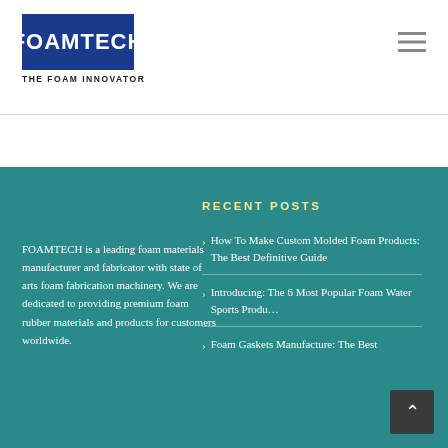[Figure (logo): FOAMTECH logo — dark blue rectangle with white bold text 'FOAMTECH', tagline 'THE FOAM INNOVATOR' below in black]
[Figure (other): Hamburger menu icon (three horizontal lines) in top right corner]
RECENT POSTS
FOAMTECH is a leading foam materials manufacturer and fabricator with state of arts foam fabrication machinery. We are dedicated to providing premium foam rubber materials and products for customers worldwide.
How To Make Custom Molded Foam Products: The Best Definitive Guide
Introducing: The 6 Most Popular Foam Water Sports Products
Foam Gaskets Manufacture: The Best